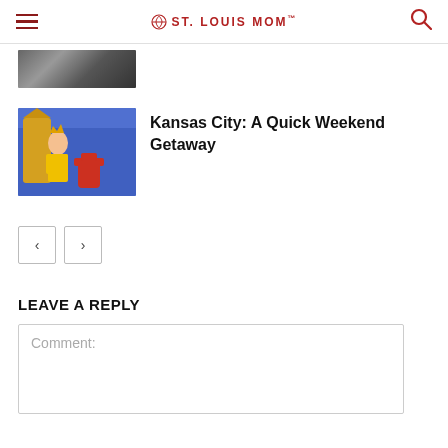ST. LOUIS MOM
[Figure (photo): Partial cropped photo at top of page, dark/grayscale image]
[Figure (photo): Thumbnail photo of a child in colorful play area (yellows, blues, reds)]
Kansas City: A Quick Weekend Getaway
< >
LEAVE A REPLY
Comment: